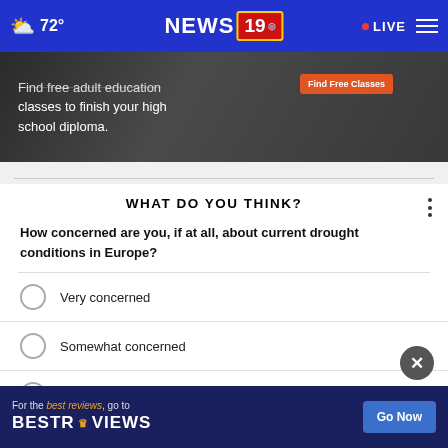☁ 72° | NEWS 19 | LIVE
[Figure (screenshot): Ad banner: Find free adult education classes to finish your high school diploma. Find Free Classes button.]
WHAT DO YOU THINK?
How concerned are you, if at all, about current drought conditions in Europe?
Very concerned
Somewhat concerned
Not at all concerned
Other / No opinion
[Figure (screenshot): Bottom ad banner: For the best reviews, go to BESTREVIEWS. Go Now button.]